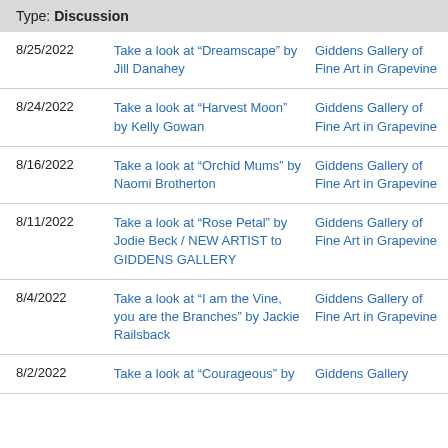Type: Discussion
| Date | Title | Venue |
| --- | --- | --- |
| 8/25/2022 | Take a look at “Dreamscape” by Jill Danahey | Giddens Gallery of Fine Art in Grapevine |
| 8/24/2022 | Take a look at “Harvest Moon” by Kelly Gowan | Giddens Gallery of Fine Art in Grapevine |
| 8/16/2022 | Take a look at “Orchid Mums” by Naomi Brotherton | Giddens Gallery of Fine Art in Grapevine |
| 8/11/2022 | Take a look at “Rose Petal” by Jodie Beck / NEW ARTIST to GIDDENS GALLERY | Giddens Gallery of Fine Art in Grapevine |
| 8/4/2022 | Take a look at “I am the Vine, you are the Branches” by Jackie Railsback | Giddens Gallery of Fine Art in Grapevine |
| 8/2/2022 | Take a look at “Courageous” by | Giddens Gallery |